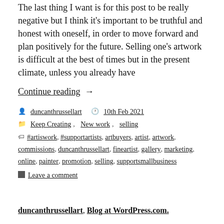The last thing I want is for this post to be really negative but I think it's important to be truthful and honest with oneself, in order to move forward and plan positively for the future. Selling one's artwork is difficult at the best of times but in the present climate, unless you already have
Continue reading  →
by duncanthrussellart   10th Feb 2021
Keep Creating, New work, selling
#artiswork, #supportartists, artbuyers, artist, artwork, commissions, duncanthrussellart, fineartist, gallery, marketing, online, painter, promotion, selling, supportsmallbusiness
Leave a comment
duncanthrussellart, Blog at WordPress.com.